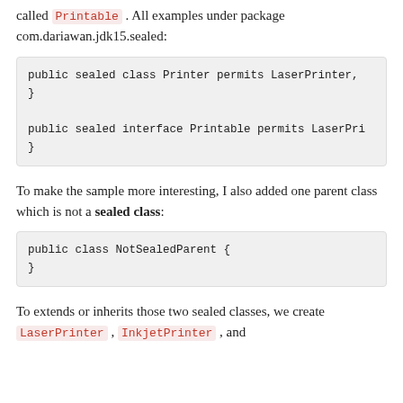called Printable . All examples under package com.dariawan.jdk15.sealed:
public sealed class Printer permits LaserPrinter,
}

public sealed interface Printable permits LaserPri
}
To make the sample more interesting, I also added one parent class which is not a sealed class:
public class NotSealedParent {
}
To extends or inherits those two sealed classes, we create LaserPrinter , InkjetPrinter , and